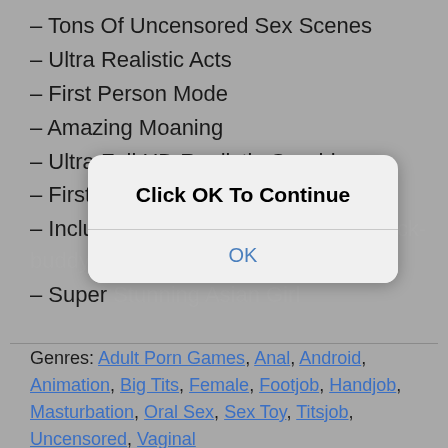– Tons Of Uncensored Sex Scenes
– Ultra Realistic Acts
– First Person Mode
– Amazing Moaning
– Ultra Full HD Realistic Graphics
– First Person Camera Control
– Includes Anal, All Ages (Portable Fuck-buddy)!
– Super Stunning Asian Girl
[Figure (screenshot): A modal dialog overlay with bold text 'Click OK To Continue' and a blue 'OK' button below, displayed over the list content.]
Genres: Adult Porn Games, Anal, Android, Animation, Big Tits, Female, Footjob, Handjob, Masturbation, Oral Sex, Sex Toy, Titsjob, Uncensored, Vaginal